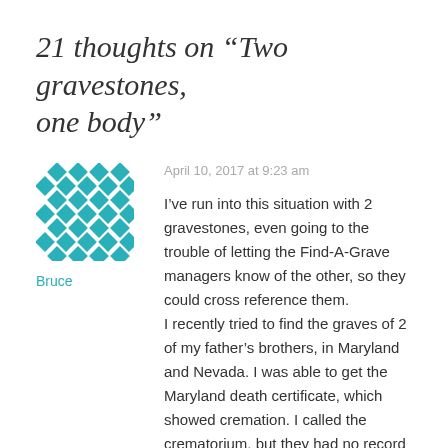21 thoughts on “Two gravestones, one body”
[Figure (illustration): Teal/cyan geometric mosaic avatar icon for user Bruce]
Bruce
April 10, 2017 at 9:23 am
I’ve run into this situation with 2 gravestones, even going to the trouble of letting the Find-A-Grave managers know of the other, so they could cross reference them.
I recently tried to find the graves of 2 of my father’s brothers, in Maryland and Nevada. I was able to get the Maryland death certificate, which showed cremation. I called the crematorium, but they had no record of